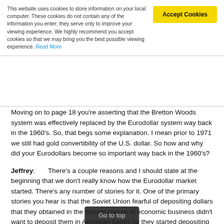This website uses cookies to store information on your local computer. These cookies do not contain any of the information you enter; they serve only to improve your viewing experience. We highly recommend you accept cookies so that we may bring you the best possible viewing experience. Read More
Moving on to page 18 you're asserting that the Bretton Woods system was effectively replaced by the Eurodollar system way back in the 1960's. So, that begs some explanation. I mean prior to 1971 we still had gold convertibility of the U.S. dollar. So how and why did your Eurodollars become so important way back in the 1960's?
Jeffrey: There's a couple reasons and I should state at the beginning that we don't really know how the Eurodollar market started. There's any number of stories for it. One of the primary stories you hear is that the Soviet Union fearful of depositing dollars that they obtained in the natural course of economic business didn't want to deposit them in American banks so they started depositing them in European banks fearful of the political consequences of, perhaps the Kennedy administration to confiscate Soviet